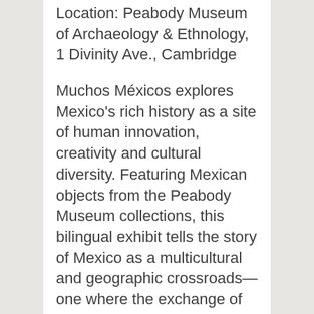Location: Peabody Museum of Archaeology & Ethnology, 1 Divinity Ave., Cambridge
Muchos Méxicos explores Mexico's rich history as a site of human innovation, creativity and cultural diversity. Featuring Mexican objects from the Peabody Museum collections, this bilingual exhibit tells the story of Mexico as a multicultural and geographic crossroads—one where the exchange of resources, products, and ideas among Indigenous peoples throughout the Americas